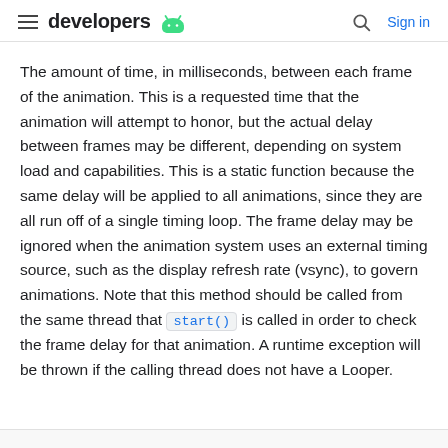developers  Sign in
The amount of time, in milliseconds, between each frame of the animation. This is a requested time that the animation will attempt to honor, but the actual delay between frames may be different, depending on system load and capabilities. This is a static function because the same delay will be applied to all animations, since they are all run off of a single timing loop. The frame delay may be ignored when the animation system uses an external timing source, such as the display refresh rate (vsync), to govern animations. Note that this method should be called from the same thread that start() is called in order to check the frame delay for that animation. A runtime exception will be thrown if the calling thread does not have a Looper.